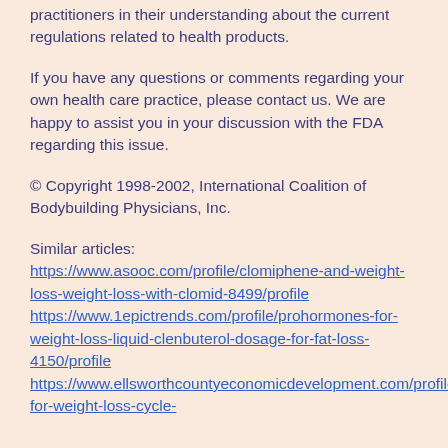practitioners in their understanding about the current regulations related to health products.
If you have any questions or comments regarding your own health care practice, please contact us. We are happy to assist you in your discussion with the FDA regarding this issue.
© Copyright 1998-2002, International Coalition of Bodybuilding Physicians, Inc.
Similar articles: https://www.asooc.com/profile/clomiphene-and-weight-loss-weight-loss-with-clomid-8499/profile https://www.1epictrends.com/profile/prohormones-for-weight-loss-liquid-clenbuterol-dosage-for-fat-loss-4150/profile https://www.ellsworthcountyeconomicdevelopment.com/profile/clen-for-weight-loss-cycle-